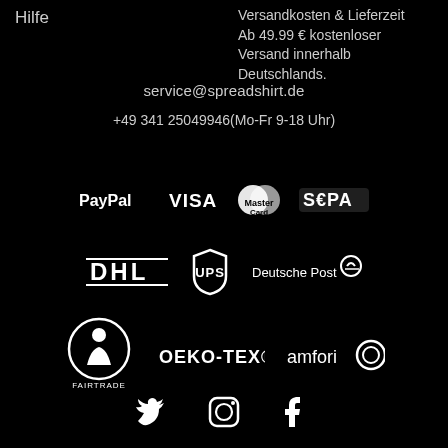Hilfe
Versandkosten & Lieferzeit Ab 49.99 € kostenloser Versand innerhalb Deutschlands.
service@spreadshirt.de
+49 341 25049946(Mo-Fr 9-18 Uhr)
[Figure (logo): Payment logos: PayPal, VISA, MasterCard, SEPA]
[Figure (logo): Shipping logos: DHL, UPS, Deutsche Post]
[Figure (logo): Certification logos: Fairtrade, OEKO-TEX, amfori]
[Figure (logo): Social media icons: Twitter, Instagram, Facebook]